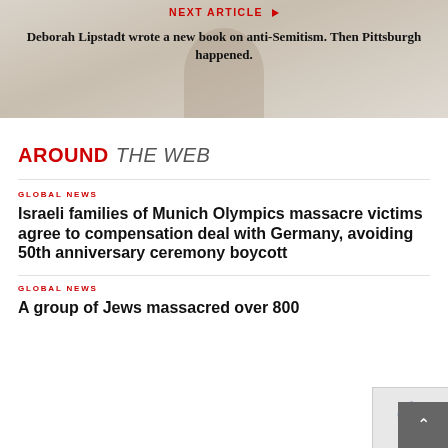[Figure (photo): Hero image with person partially visible, overlaid with article promotion text]
NEXT ARTICLE ▶
Deborah Lipstadt wrote a new book on anti-Semitism. Then Pittsburgh happened.
AROUND THE WEB
GLOBAL NEWS
Israeli families of Munich Olympics massacre victims agree to compensation deal with Germany, avoiding 50th anniversary ceremony boycott
GLOBAL NEWS
A group of Jews massacred over 800